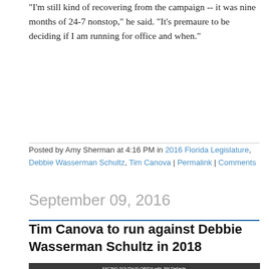"I'm still kind of recovering from the campaign -- it was nine months of 24-7 nonstop," he said. "It's premaure to be deciding if I am running for office and when."
Posted by Amy Sherman at 4:16 PM in 2016 Florida Legislature, Debbie Wasserman Schultz, Tim Canova | Permalink | Comments
September 09, 2016
Tim Canova to run against Debbie Wasserman Schultz in 2018
[Figure (photo): TV show graphic for 'Facing South Florida with Jim DeFede' on CBS, showing two people and a city skyline in the background]